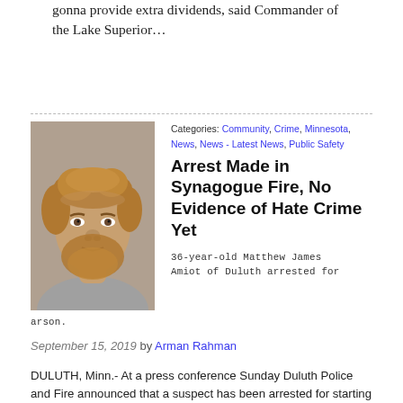gonna provide extra dividends, said Commander of the Lake Superior…
[Figure (photo): Mugshot of Matthew James Amiot, a man with curly reddish-blond hair and beard, wearing a gray shirt.]
Categories: Community, Crime, Minnesota, News, News - Latest News, Public Safety
Arrest Made in Synagogue Fire, No Evidence of Hate Crime Yet
36-year-old Matthew James Amiot of Duluth arrested for arson.
September 15, 2019 by Arman Rahman
DULUTH, Minn.- At a press conference Sunday Duluth Police and Fire announced that a suspect has been arrested for starting the Adas Israel Synagogue Fire. 36-year-old Matthew James Amiot of Duluth was arrested for Arson Friday afternoon, Duluth Police Chief